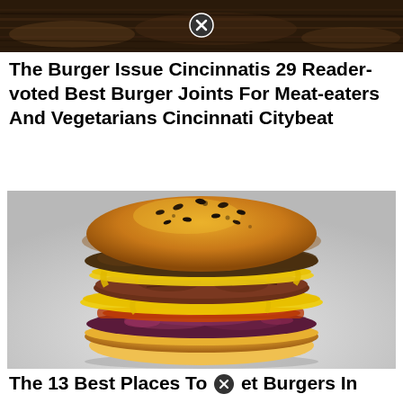[Figure (photo): Top partial image of a dark wooden surface or burger bun top, cropped at the top of the page]
The Burger Issue Cincinnatis 29 Reader-voted Best Burger Joints For Meat-eaters And Vegetarians Cincinnati Citybeat
[Figure (photo): Close-up photograph of a large gourmet burger with a sesame seed bun, melted cheese, mushrooms, red cabbage slaw, bacon, and a beef patty on a light gray background]
The 13 Best Places To Get Burgers In